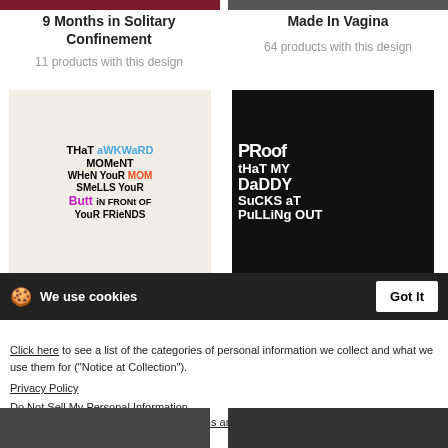9 Months in Solitary Confinement
11 products with this design
Made In Vagina
64 products with this design
[Figure (photo): T-shirt design reading 'That Awkward Moment When Your MOM Smells Your Butt In Front Of Your Friends' in colorful text]
[Figure (photo): Dark t-shirt design reading 'Proof That My Daddy Sucks At Pulling Out' in large white text]
We use cookies
Got It
Awkward Moment Mom Smells Your Butt
Proof Daddy Sucks At Pulling Out
Click here to see a list of the categories of personal information we collect and what we use them for ("Notice at Collection").
Privacy Policy
Do Not Sell My Personal Information
By using this website, I agree to the Terms and Conditions